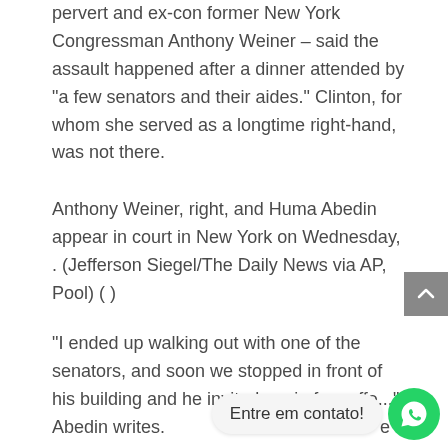pervert and ex-con former New York Congressman Anthony Weiner – said the assault happened after a dinner attended by "a few senators and their aides." Clinton, for whom she served as a longtime right-hand, was not there.
Anthony Weiner, right, and Huma Abedin appear in court in New York on Wednesday, . (Jefferson Siegel/The Daily News via AP, Pool) ( )
"I ended up walking out with one of the senators, and soon we stopped in front of his building and he invited me in for coffe...